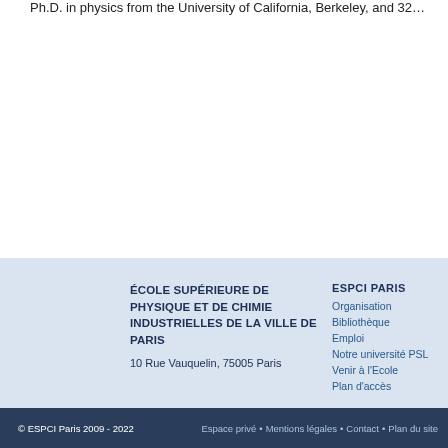Ph.D. in physics from the University of California, Berkeley, and 32…
ÉCOLE SUPÉRIEURE DE PHYSIQUE ET DE CHIMIE INDUSTRIELLES DE LA VILLE DE PARIS
10 Rue Vauquelin, 75005 Paris
ESPCI PARIS
Organisation
Bibliothèque
Emploi
Notre université PSL
Venir à l'Ecole
Plan d'accès
© ESPCI Paris 2009 - 2022  Espace privé • Mentions légales • Contact • Plan du site